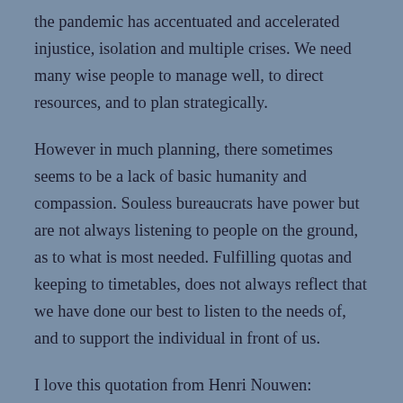the pandemic has accentuated and accelerated injustice, isolation and multiple crises. We need many wise people to manage well, to direct resources, and to plan strategically.
However in much planning, there sometimes seems to be a lack of basic humanity and compassion. Souless bureaucrats have power but are not always listening to people on the ground, as to what is most needed. Fulfilling quotas and keeping to timetables, does not always reflect that we have done our best to listen to the needs of, and to support the individual in front of us.
I love this quotation from Henri Nouwen: ‘compassion asks us to go where it hurts, to enter into places of pain, to share in brokenness, fear and confusion and anguish.